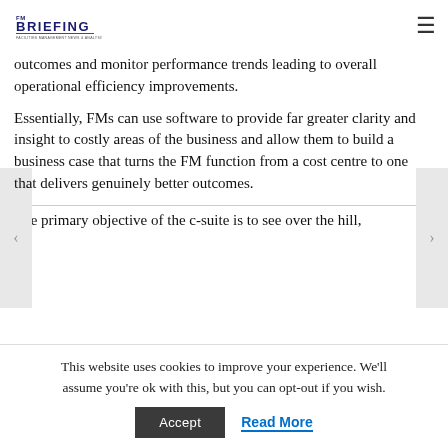FM Briefing
outcomes and monitor performance trends leading to overall operational efficiency improvements.
Essentially, FMs can use software to provide far greater clarity and insight to costly areas of the business and allow them to build a business case that turns the FM function from a cost centre to one that delivers genuinely better outcomes.
The primary objective of the c-suite is to see over the hill,
This website uses cookies to improve your experience. We'll assume you're ok with this, but you can opt-out if you wish.